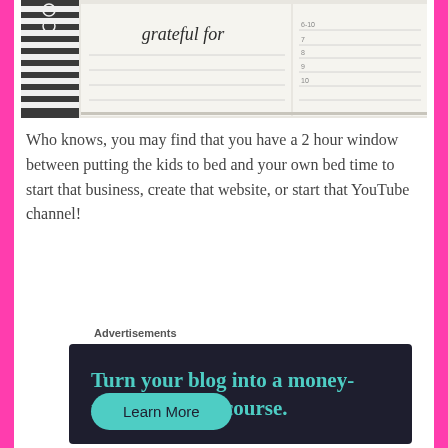[Figure (photo): Photo of a planner/journal open to a 'grateful for' page with lined spaces and numbered list on the right side, with a striped object on the left.]
Who knows, you may find that you have a 2 hour window between putting the kids to bed and your own bed time to start that business, create that website, or start that YouTube channel!
Advertisements
[Figure (infographic): Dark navy advertisement banner reading 'Turn your blog into a money-making online course.' with a teal 'Learn More' button.]